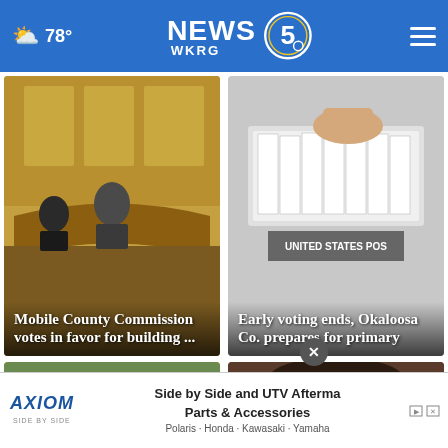NEWS 5 WKRG — 78°
[Figure (photo): Mobile County Commission meeting room with officials seated at a curved bench]
Mobile County Commission votes in favor for building ...
[Figure (photo): Hands sorting through mail-in ballots in a United States Postal Service container]
Early voting ends, Okaloosa Co. prepares for primary
[Figure (photo): Yellow road construction light/lantern in foreground with blurred background]
[Figure (photo): Young person with dark hair viewed from above]
AXIOM SIDE BY SIDE — Side by Side and UTV Aftermarket Parts & Accessories — Polaris · Honda · Kawasaki · Yamaha